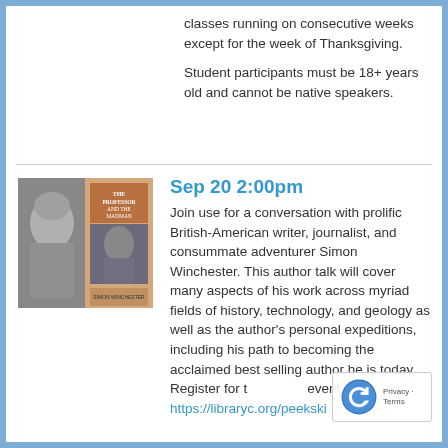classes running on consecutive weeks except for the week of Thanksgiving.
Student participants must be 18+ years old and cannot be native speakers.
Sep 20 2:00pm
Join use for a conversation with prolific British-American writer, journalist, and consummate adventurer Simon Winchester. This author talk will cover many aspects of his work across myriad fields of history, technology, and geology as well as the author's personal expeditions, including his path to becoming the acclaimed best selling author he is today. Register for the event here: https://libraryc.org/peekski…
[Figure (photo): Photo of Simon Winchester alongside a book cover titled 'The Professor and the Madman']